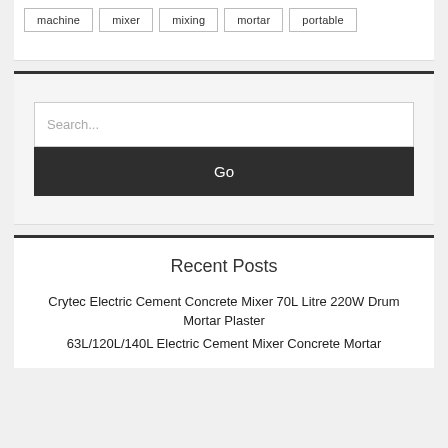machine
mixer
mixing
mortar
portable
Search...
Go
Recent Posts
Crytec Electric Cement Concrete Mixer 70L Litre 220W Drum Mortar Plaster
63L/120L/140L Electric Cement Mixer Concrete Mortar